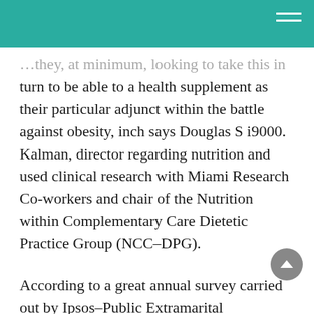…they, at minimum, looking to use this in turn to be able to a health supplement as their particular adjunct within the battle against obesity, inch says Douglas S i9000. Kalman, director regarding nutrition and used clinical research with Miami Research Co-workers and chair of the Nutrition within Complementary Care Dietetic Practice Group (NCC-DPG).
According to a great annual survey carried out by Ipsos-Public Extramarital relationships for the Council for Responsible Nutrition (CRN), Washington, D. C.